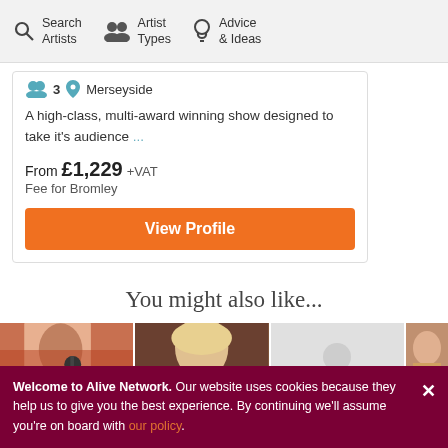Search Artists | Artist Types | Advice & Ideas
3  Merseyside
A high-class, multi-award winning show designed to take it's audience ...
From £1,229 +VAT
Fee for Bromley
View Profile
You might also like...
[Figure (photo): Four thumbnail photos of performers for 'You might also like' section]
Welcome to Alive Network. Our website uses cookies because they help us to give you the best experience. By continuing we'll assume you're on board with our policy.